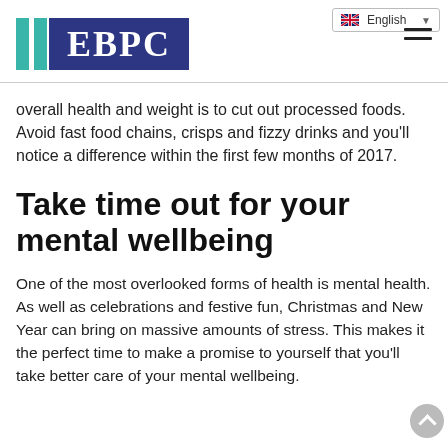EBPC logo with language selector (English) and hamburger menu
overall health and weight is to cut out processed foods. Avoid fast food chains, crisps and fizzy drinks and you'll notice a difference within the first few months of 2017.
Take time out for your mental wellbeing
One of the most overlooked forms of health is mental health. As well as celebrations and festive fun, Christmas and New Year can bring on massive amounts of stress. This makes it the perfect time to make a promise to yourself that you'll take better care of your mental wellbeing.